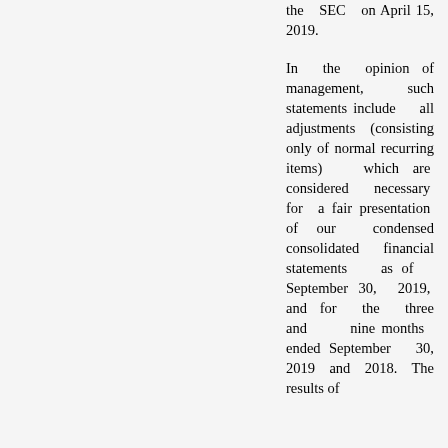the SEC on April 15, 2019.
In the opinion of management, such statements include all adjustments (consisting only of normal recurring items) which are considered necessary for a fair presentation of our condensed consolidated financial statements as of September 30, 2019, and for the three and nine months ended September 30, 2019 and 2018. The results of